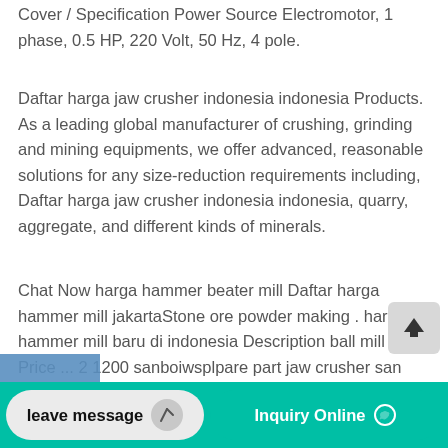Cover / Specification Power Source Electromotor, 1 phase, 0.5 HP, 220 Volt, 50 Hz, 4 pole.
Daftar harga jaw crusher indonesia indonesia Products. As a leading global manufacturer of crushing, grinding and mining equipments, we offer advanced, reasonable solutions for any size-reduction requirements including, Daftar harga jaw crusher indonesia indonesia, quarry, aggregate, and different kinds of minerals.
Chat Now harga hammer beater mill Daftar harga hammer mill jakartaStone ore powder making . harga hammer mill baru di indonesia Description ball mill . Get Price ... 2 1200 sanboiwsplpare part jaw crusher san boa pex 200 x 1000beltconveyerst aw crusher secunder type pex 250 x 1000 harga for more daftar harga jaw crusher mini 4
[Figure (screenshot): Scroll-to-top button with upward arrow icon on grey rounded background]
[Figure (photo): Partial blue photo strip at bottom left]
leave message
Inquiry Online